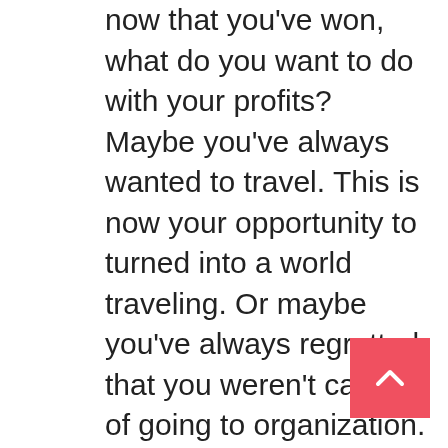now that you've won, what do you want to do with your profits? Maybe you've always wanted to travel. This is now your opportunity to turned into a world traveling. Or maybe you've always regretted that you weren't capable of going to organization. You now have the possibility get that degree! Making a list of all of your hopes and dreams can help you to find good path realize them.Well the initial thing you must understand may be the value of studying your states past 30 pick 4 contests. Playing your states often occurring numbers will turn into a key factor in winning the pick 4 lottery. After data hk understand this key aspect, you should see an increase in yields. There are so many online sites for pick 3 pick 4 lotteries with proven results assist guide one to the right profitable pick 4 items. Do not waste your